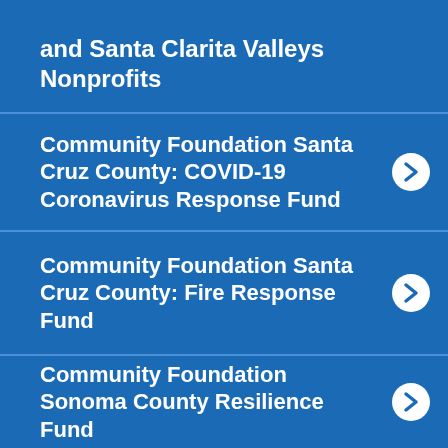Ranteyor Fund for San Fernando and Santa Clarita Valleys Nonprofits
Community Foundation Santa Cruz County: COVID-19 Coronavirus Response Fund
Community Foundation Santa Cruz County: Fire Response Fund
Community Foundation Sonoma County Resilience Fund